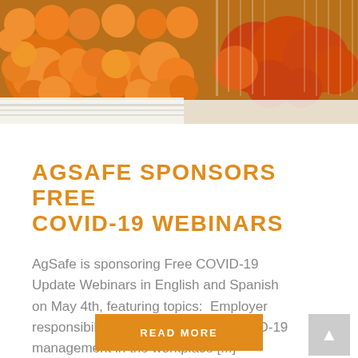[Figure (photo): Photo of oranges/tangerines in white crates at a market or store, with bright orange fruit filling the frame]
AGSAFE SPONSORS FREE COVID-19 WEBINARS
AgSafe is sponsoring Free COVID-19 Update Webinars in English and Spanish on May 4th, featuring topics:  Employer responsibilities as they relate to COVID-19 management in the workplace [...]
READ MORE